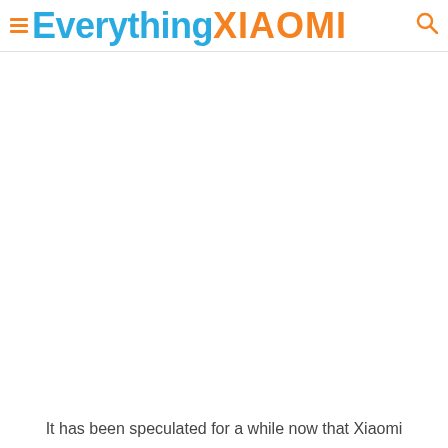≡Everything XIAOMI 🔍
It has been speculated for a while now that Xiaomi